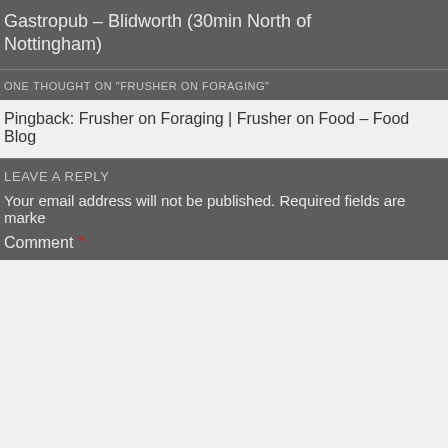Gastropub – Blidworth (30min North of Nottingham)
ONE THOUGHT ON "FRUSHER ON FORAGING"
Pingback: Frusher on Foraging | Frusher on Food – Food Blog
LEAVE A REPLY
Your email address will not be published. Required fields are marked
Comment *